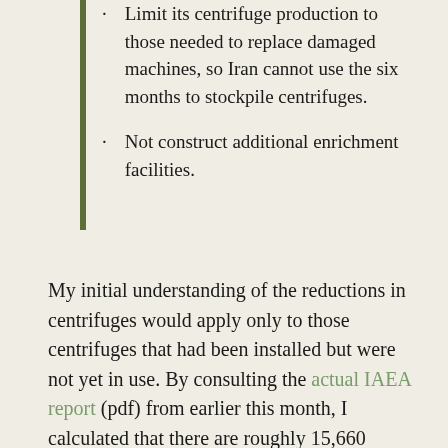Limit its centrifuge production to those needed to replace damaged machines, so Iran cannot use the six months to stockpile centrifuges.
Not construct additional enrichment facilities.
My initial understanding of the reductions in centrifuges would apply only to those centrifuges that had been installed but were not yet in use. By consulting the actual IAEA report (pdf) from earlier this month, I calculated that there are roughly 15,660 centrifuges installed at Natanz, with about 9048 of them in use. That means there are an excess of 6612 centrifuges installed but not being used. Half of those would be about 3306 centrifuges to be